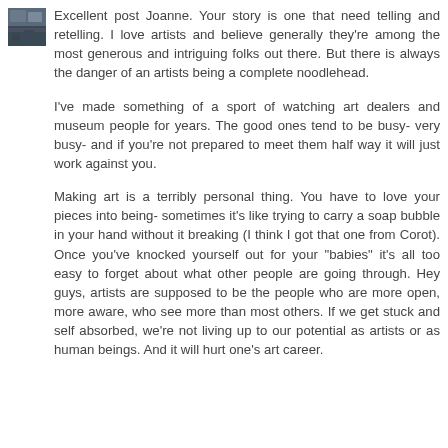[Figure (photo): Small square avatar image showing an outdoor/nature scene with dark tones]
Excellent post Joanne. Your story is one that need telling and retelling. I love artists and believe generally they're among the most generous and intriguing folks out there. But there is always the danger of an artists being a complete noodlehead.
I've made something of a sport of watching art dealers and museum people for years. The good ones tend to be busy- very busy- and if you're not prepared to meet them half way it will just work against you.
Making art is a terribly personal thing. You have to love your pieces into being- sometimes it's like trying to carry a soap bubble in your hand without it breaking (I think I got that one from Corot). Once you've knocked yourself out for your "babies" it's all too easy to forget about what other people are going through. Hey guys, artists are supposed to be the people who are more open, more aware, who see more than most others. If we get stuck and self absorbed, we're not living up to our potential as artists or as human beings. And it will hurt one's art career.